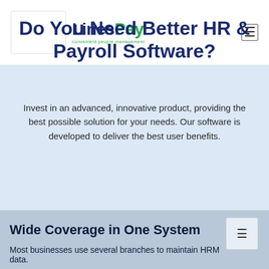LinesPay — convenient people management
Do You Need Better HR & Payroll Software?
Invest in an advanced, innovative product, providing the best possible solution for your needs. Our software is developed to deliver the best user benefits.
Wide Coverage in One System
Most businesses use several branches to maintain HRM data.